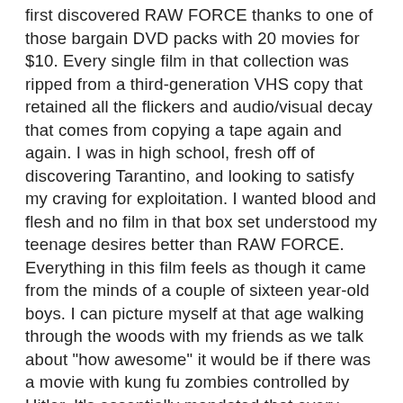first discovered RAW FORCE thanks to one of those bargain DVD packs with 20 movies for $10. Every single film in that collection was ripped from a third-generation VHS copy that retained all the flickers and audio/visual decay that comes from copying a tape again and again. I was in high school, fresh off of discovering Tarantino, and looking to satisfy my craving for exploitation. I wanted blood and flesh and no film in that box set understood my teenage desires better than RAW FORCE. Everything in this film feels as though it came from the minds of a couple of sixteen year-old boys. I can picture myself at that age walking through the woods with my friends as we talk about "how awesome" it would be if there was a movie with kung fu zombies controlled by Hitler. It's essentially mandated that every woman on screen get naked at some point. And corny jokes are constantly shouted from off screen, because nothing compliments gory martial